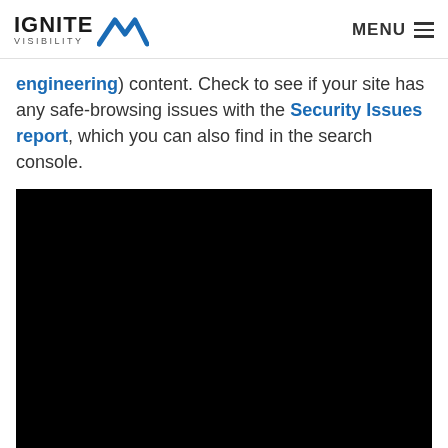IGNITE VISIBILITY | MENU
engineering) content. Check to see if your site has any safe-browsing issues with the Security Issues report, which you can also find in the search console.
[Figure (photo): Large black rectangle representing an embedded video or image placeholder]